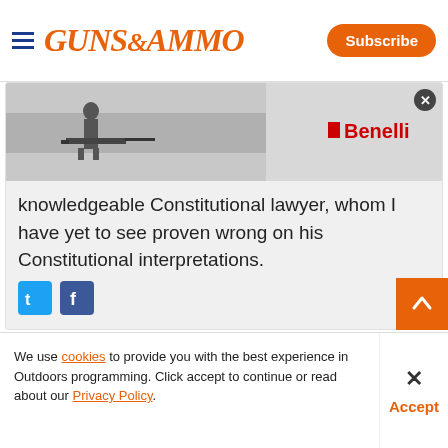GUNS&AMMO | Subscribe
[Figure (photo): Advertisement banner with a person using a rifle in a field, Benelli brand logo on the right, with a close X button]
knowledgeable Constitutional lawyer, whom I have yet to see proven wrong on his Constitutional interpretations.
I'll look for some documentation when I get in the mood, if you're going to be lazy. :tooth:
[Figure (other): Social share icons: Twitter (blue bird) and Facebook (blue F)]
[Figure (other): Back to top button (orange with up chevron)]
We use cookies to provide you with the best experience in Outdoors programming. Click accept to continue or read about our Privacy Policy.